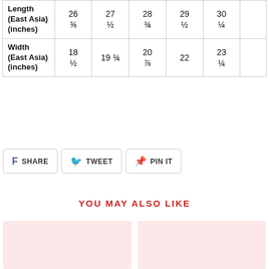|  | Col1 | Col2 | Col3 | Col4 | Col5 | Col6 |
| --- | --- | --- | --- | --- | --- | --- |
| Length (East Asia) (inches) | 26 ⅜ | 27 ½ | 28 ¾ | 29 ½ | 30 ¼ |  |
| Width (East Asia) (inches) | 18 ½ | 19 ¾ | 20 ⅞ | 22 | 23 ¼ |  |
SHARE  TWEET  PIN IT
YOU MAY ALSO LIKE
[Figure (photo): Two product thumbnail placeholders with light pink/rose background]